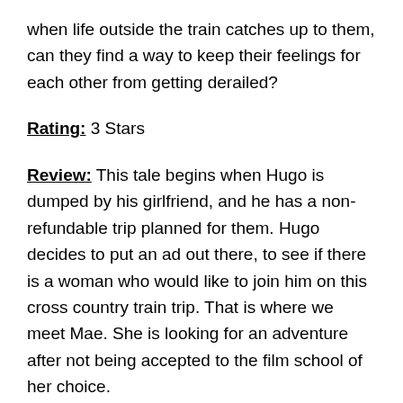when life outside the train catches up to them, can they find a way to keep their feelings for each other from getting derailed?
Rating: 3 Stars
Review: This tale begins when Hugo is dumped by his girlfriend, and he has a non-refundable trip planned for them. Hugo decides to put an ad out there, to see if there is a woman who would like to join him on this cross country train trip. That is where we meet Mae. She is looking for an adventure after not being accepted to the film school of her choice.
What ensues, is sappy sweet YA romance novel. I was excited to read this one, because I loved Windfall so much. This one was a little bland for me